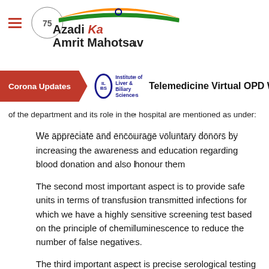Azadi Ka Amrit Mahotsav | ILBS - Institute of Liver & Biliary Sciences | Corona Updates | Telemedicine Virtual OPD
of the department and its role in the hospital are mentioned as under:
We appreciate and encourage voluntary donors by increasing the awareness and education regarding blood donation and also honour them
The second most important aspect is to provide safe units in terms of transfusion transmitted infections for which we have a highly sensitive screening test based on the principle of chemiluminescence to reduce the number of false negatives.
The third important aspect is precise serological testing in patients and donors samples for which we have gel techniques, extended phenotyping and antibody screening